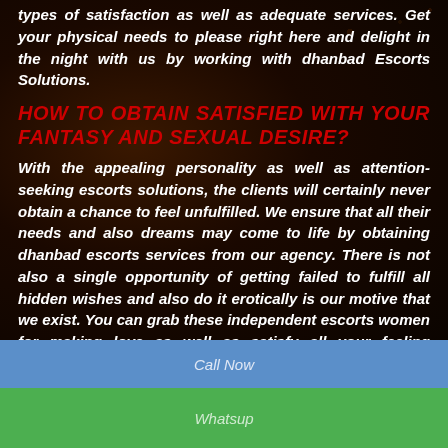types of satisfaction as well as adequate services. Get your physical needs to please right here and delight in the night with us by working with dhanbad Escorts Solutions.
HOW TO OBTAIN SATISFIED WITH YOUR FANTASY AND SEXUAL DESIRE?
With the appealing personality as well as attention-seeking escorts solutions, the clients will certainly never obtain a chance to feel unfulfilled. We ensure that all their needs and also dreams may come to life by obtaining dhanbad escorts services from our agency. There is not also a single opportunity of getting failed to fulfill all hidden wishes and also do it erotically is our motive that we exist. You can grab these independent escorts women for making love as well as satisfy all your feeling internally as well as externally.
IS IT SAFE TO BOOK A DHANBAD ESCORTS?
Call Now
Whatsup